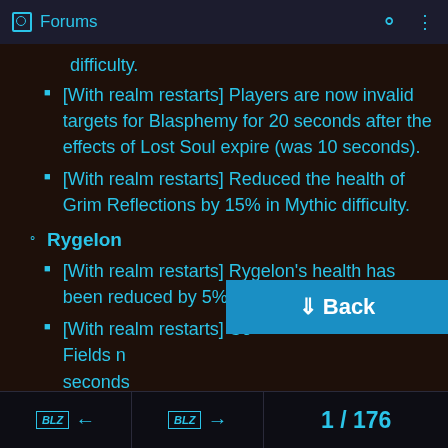Forums
difficulty.
[With realm restarts] Players are now invalid targets for Blasphemy for 20 seconds after the effects of Lost Soul expire (was 10 seconds).
[With realm restarts] Reduced the health of Grim Reflections by 15% in Mythic difficulty.
Rygelon
[With realm restarts] Rygelon's health has been reduced by 5% in Mythic difficulty.
[With realm restarts] Co... Fields n... seconds...
1 / 176